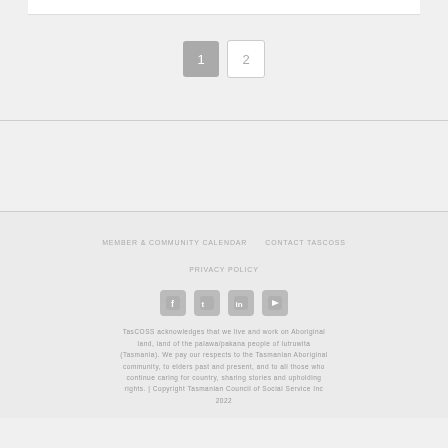[Figure (other): Pagination controls showing page 1 (active/grey) and page 2 (inactive/white border)]
MEMBER & COMMUNITY CALENDAR   CONTACT TASCOSS   PRIVACY POLICY
[Figure (other): Social media icons: Facebook, Twitter, LinkedIn, YouTube]
TasCOSS acknowledges that we live and work on Aboriginal land, land of the palawa/pakana people of lutruwita (Tasmania). We pay our respects to the Tasmanian Aboriginal community, to elders past and present, and to all those who continue caring for country, sharing stories and upholding rights. | Copyright Tasmanian Council of Social Service Inc 2022